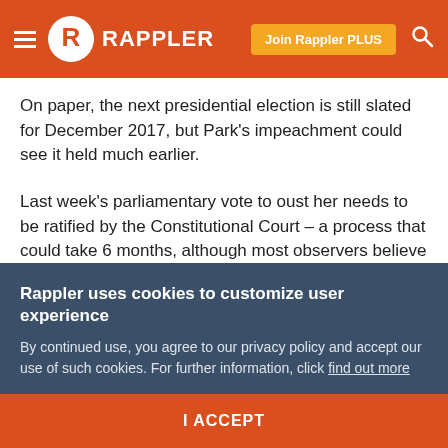RAPPLER — Join Rappler PLUS
On paper, the next presidential election is still slated for December 2017, but Park's impeachment could see it held much earlier.
Last week's parliamentary vote to oust her needs to be ratified by the Constitutional Court – a process that could take 6 months, although most observers believe the judgement will come sooner.
If the justices confirm impeachment, Park will be
Rappler uses cookies to customize user experience
By continued use, you agree to our privacy policy and accept our use of such cookies. For further information, click find out more
I ACCEPT